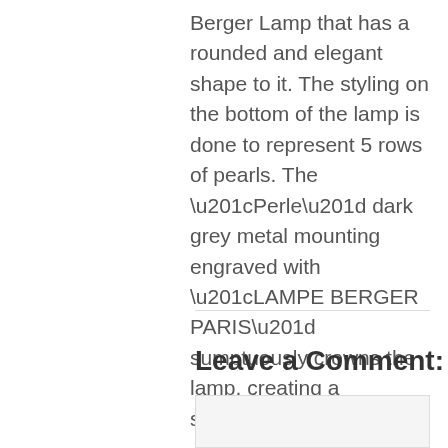Berger Lamp that has a rounded and elegant shape to it. The styling on the bottom of the lamp is done to represent 5 rows of pearls. The “Perle” dark grey metal mounting engraved with “LAMPE BERGER PARIS” sumptuously crowns the lamp, creating a sophisticated finish.
Leave a Comment: